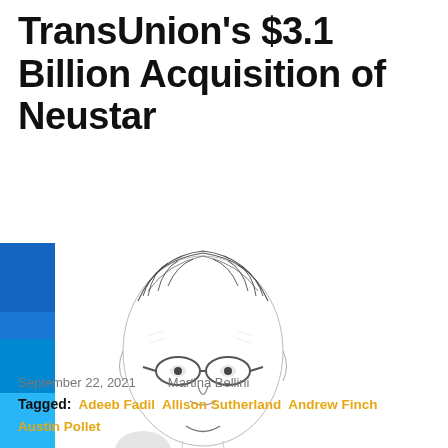TransUnion's $3.1 Billion Acquisition of Neustar
[Figure (illustration): Sketch-style portrait illustration of a person with glasses and short hair, alongside colored vertical bars (blue shades, light gray, dark gray) on the left side]
September 22, 2021    Martina Bellini
Tagged:  Adeeb Fadil  Allison Sutherland  Andrew Finch  Austin Pollet